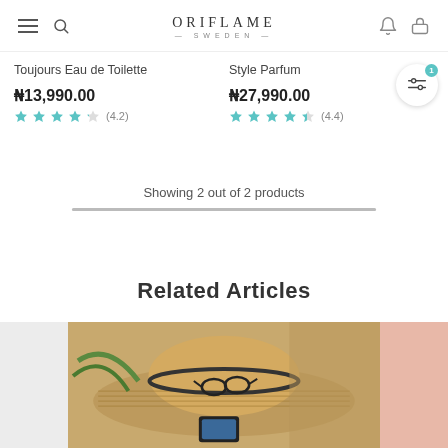ORIFLAME SWEDEN
Toujours Eau de Toilette
₦13,990.00 (4.2)
Style Parfum
₦27,990.00 (4.4)
Showing 2 out of 2 products
Related Articles
[Figure (photo): Straw hat with sunglasses article thumbnail]